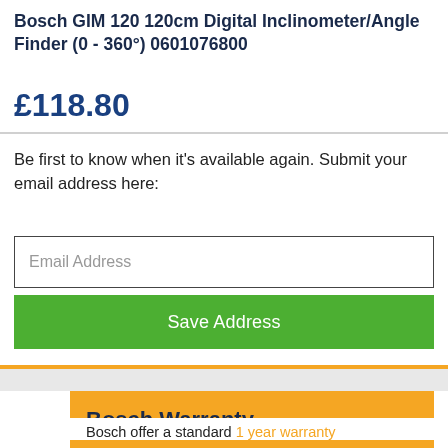Bosch GIM 120 120cm Digital Inclinometer/Angle Finder (0 - 360°) 0601076800
£118.80
Be first to know when it's available again. Submit your email address here:
Email Address
Save Address
Bosch Warranty
Bosch offer a standard 1 year warranty